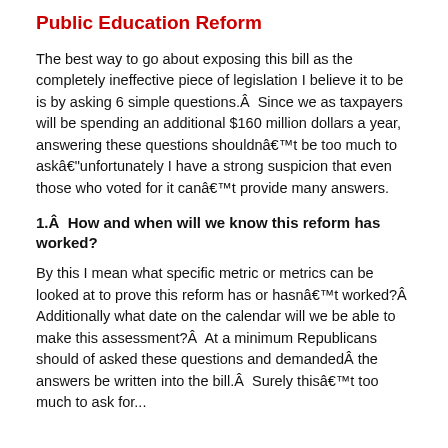Public Education Reform
The best way to go about exposing this bill as the completely ineffective piece of legislation I believe it to be is by asking 6 simple questions.Â  Since we as taxpayers will be spending an additional $160 million dollars a year, answering these questions shouldnâ€™t be too much to askâ€“unfortunately I have a strong suspicion that even those who voted for it canâ€™t provide many answers.
1.Â  How and when will we know this reform has worked?
By this I mean what specific metric or metrics can be looked at to prove this reform has or hasnâ€™t worked?Â  Additionally what date on the calendar will we be able to make this assessment?Â  At a minimum Republicans should of asked these questions and demandedÂ  the answers be written into the bill.Â  Surely thisâ€™t too much to ask for...